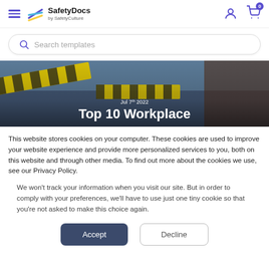SafetyDocs by SafetyCulture — Search templates
[Figure (screenshot): Hero banner image showing yellow caution tape and construction site with overlaid text: Jul 7th 2022 / Top 10 Workplace]
Jul 7th 2022
Top 10 Workplace
This website stores cookies on your computer. These cookies are used to improve your website experience and provide more personalized services to you, both on this website and through other media. To find out more about the cookies we use, see our Privacy Policy.
We won't track your information when you visit our site. But in order to comply with your preferences, we'll have to use just one tiny cookie so that you're not asked to make this choice again.